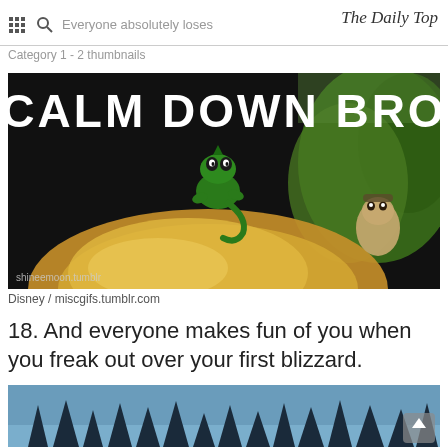Everyone absolutely loses the mind | The Daily Top
Category 1 - 2 thumbnails
[Figure (photo): Meme image from Disney's Tangled showing Pascal the chameleon sitting on Rapunzel's head with text 'CALM DOWN BRO' and Flynn Rider in the background. Watermark: shineemoon.tumblr]
Disney / miscgifs.tumblr.com
18. And everyone makes fun of you when you freak out over your first blizzard.
[Figure (photo): Bottom portion of a snowy blizzard scene with trees silhouetted against a blue-grey sky, partially visible.]